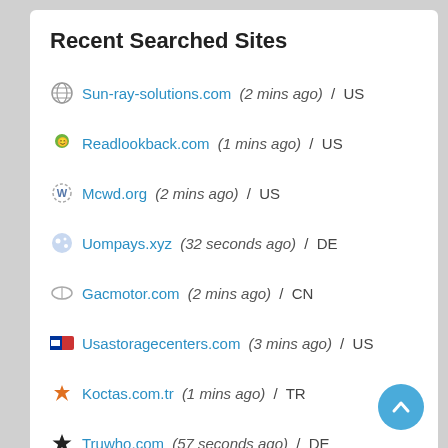Recent Searched Sites
Sun-ray-solutions.com (2 mins ago) / US
Readlookback.com (1 mins ago) / US
Mcwd.org (2 mins ago) / US
Uompays.xyz (32 seconds ago) / DE
Gacmotor.com (2 mins ago) / CN
Usastoragecenters.com (3 mins ago) / US
Koctas.com.tr (1 mins ago) / TR
Truwho.com (57 seconds ago) / DE
Aidenvironment.org (6 mins ago) / NL
Otake-m.com (2 mins ago) / JP
Draftcountdown.com (9 seconds ago) / US